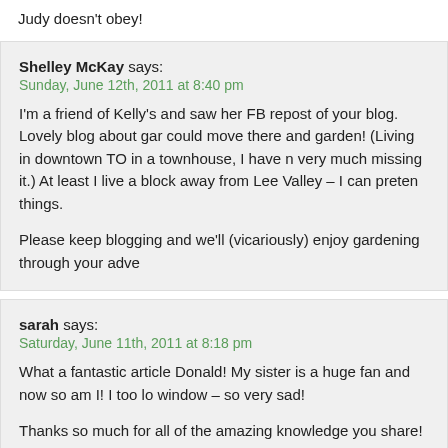Judy doesn't obey!
Shelley McKay says:
Sunday, June 12th, 2011 at 8:40 pm
I'm a friend of Kelly's and saw her FB repost of your blog. Lovely blog about gar... could move there and garden! (Living in downtown TO in a townhouse, I have m... very much missing it.) At least I live a block away from Lee Valley – I can preten... things.
Please keep blogging and we'll (vicariously) enjoy gardening through your adve...
sarah says:
Saturday, June 11th, 2011 at 8:18 pm
What a fantastic article Donald! My sister is a huge fan and now so am I! I too lo... window – so very sad!
Thanks so much for all of the amazing knowledge you share!